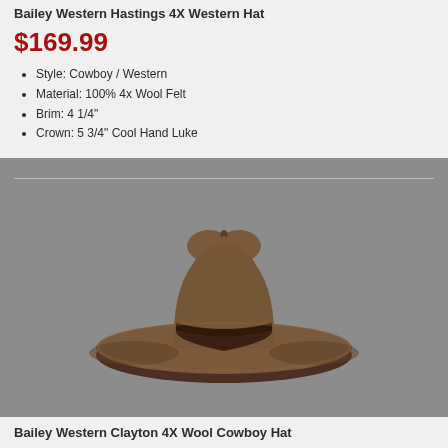Bailey Western Hastings 4X Western Hat
$169.99
Style: Cowboy / Western
Material: 100% 4x Wool Felt
Brim: 4 1/4"
Crown: 5 3/4" Cool Hand Luke
[Figure (photo): Bailey Western Hastings 4X Western Hat - a brown felt cowboy hat with curved brim and dark brown hat band, shown on gray background]
Bailey Western Clayton 4X Wool Cowboy Hat